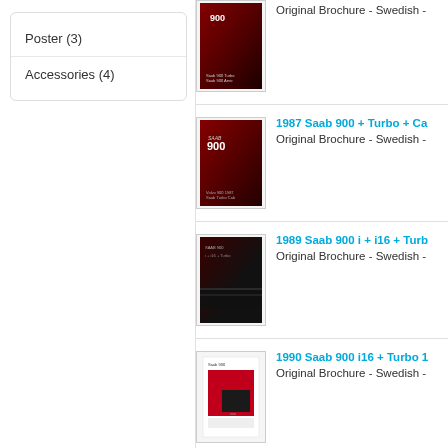Poster (3)
Accessories (4)
[Figure (photo): Saab 900 brochure cover - dark red background]
Original Brochure - Swedish -
[Figure (photo): 1987 Saab 900 brochure cover - dark red with Saab 900 logo]
1987 Saab 900 + Turbo + Ca
Original Brochure - Swedish -
[Figure (photo): 1989 Saab 900 brochure cover - dark with car detail]
1989 Saab 900 i + i16 + Turb
Original Brochure - Swedish -
[Figure (photo): 1990 Saab 900 brochure cover - white background with red car]
1990 Saab 900 i16 + Turbo 1
Original Brochure - Swedish -